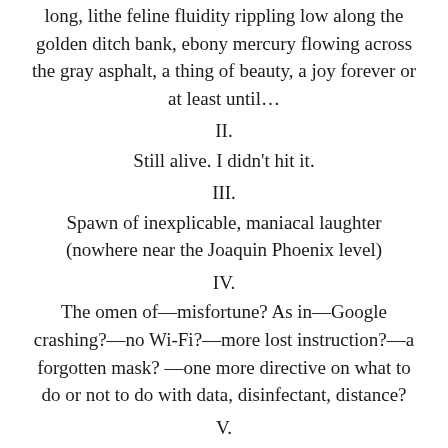long, lithe feline fluidity rippling low along the golden ditch bank, ebony mercury flowing across the gray asphalt, a thing of beauty, a joy forever or at least until…
II.
Still alive. I didn't hit it.
III.
Spawn of inexplicable, maniacal laughter (nowhere near the Joaquin Phoenix level)
IV.
The omen of—misfortune? As in—Google crashing?—no Wi-Fi?—more lost instruction?—a forgotten mask? —one more directive on what to do or not to do with data, disinfectant, distance?
V.
Will I even make it to school today?
VI.
Will students (onscreen)?